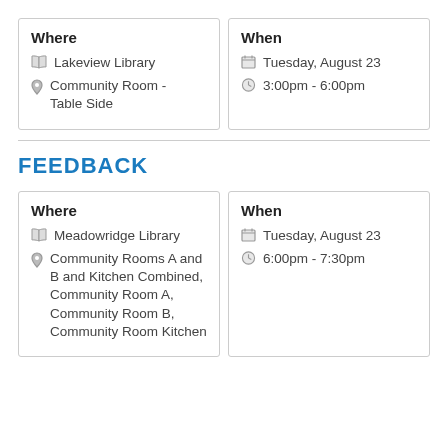| Where | When |
| --- | --- |
| Lakeview Library
Community Room - Table Side | Tuesday, August 23
3:00pm - 6:00pm |
FEEDBACK
| Where | When |
| --- | --- |
| Meadowridge Library
Community Rooms A and B and Kitchen Combined, Community Room A, Community Room B, Community Room Kitchen | Tuesday, August 23
6:00pm - 7:30pm |